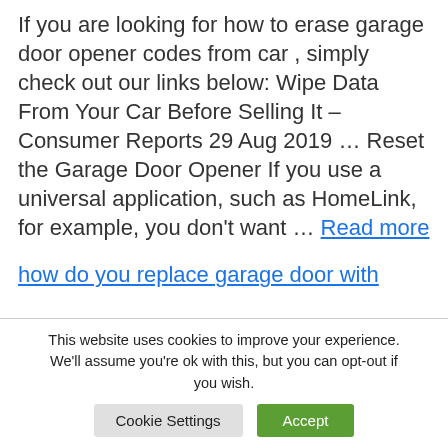If you are looking for how to erase garage door opener codes from car , simply check out our links below: Wipe Data From Your Car Before Selling It – Consumer Reports 29 Aug 2019 … Reset the Garage Door Opener If you use a universal application, such as HomeLink, for example, you don't want … Read more
how do you replace garage door with
This website uses cookies to improve your experience. We'll assume you're ok with this, but you can opt-out if you wish.